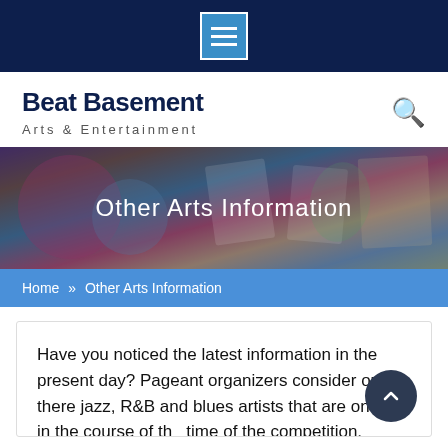[Figure (screenshot): Dark navy top navigation bar with a hamburger menu icon (three horizontal lines in a blue square with white border)]
Beat Basement
Arts & Entertainment
[Figure (photo): Hero banner with artistic collage background (flowers, paintings) with blue/purple overlay]
Other Arts Information
Home » Other Arts Information
Have you noticed the latest information in the present day? Pageant organizers consider out there jazz, R&B and blues artists that are on tour in the course of the time of the competition, bringing in the very best musicians attainable. She joined me stay within the studio this morning during "Arts Information," together